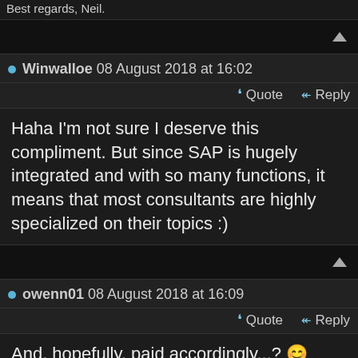Best regards, Neil.
Winwalloe 08 August 2018 at 16:02
Quote   Reply
Haha I'm not sure I deserve this compliment. But since SAP is hugely integrated and with so many functions, it means that most consultants are highly specialized on their topics :)
owenn01 08 August 2018 at 16:09
Quote   Reply
And, hopefully, paid accordingly...? 😊